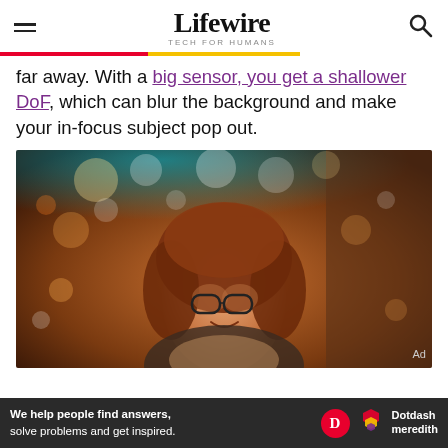Lifewire — TECH FOR HUMANS
far away. With a big sensor, you get a shallower DoF, which can blur the background and make your in-focus subject pop out.
[Figure (photo): A smiling woman with curly red hair and glasses standing in a bokeh-lit alley at night, in-focus subject with blurred background demonstrating shallow depth of field.]
We help people find answers, solve problems and get inspired. Dotdash meredith